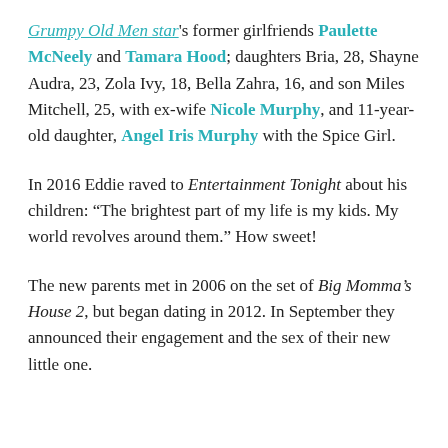Grumpy Old Men star's former girlfriends Paulette McNeely and Tamara Hood; daughters Bria, 28, Shayne Audra, 23, Zola Ivy, 18, Bella Zahra, 16, and son Miles Mitchell, 25, with ex-wife Nicole Murphy, and 11-year-old daughter, Angel Iris Murphy with the Spice Girl.
In 2016 Eddie raved to Entertainment Tonight about his children: “The brightest part of my life is my kids. My world revolves around them.” How sweet!
The new parents met in 2006 on the set of Big Momma’s House 2, but began dating in 2012. In September they announced their engagement and the sex of their new little one.